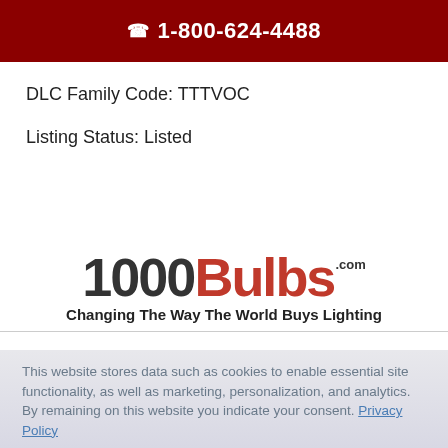☎ 1-800-624-4488
DLC Family Code: TTTVOC
Listing Status: Listed
[Figure (logo): 1000Bulbs.com logo with tagline 'Changing The Way The World Buys Lighting']
This website stores data such as cookies to enable essential site functionality, as well as marketing, personalization, and analytics. By remaining on this website you indicate your consent. Privacy Policy